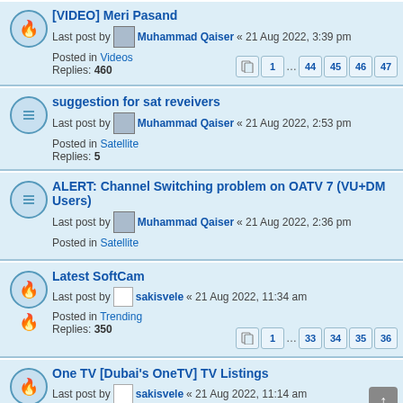[VIDEO] Meri Pasand - Last post by Muhammad Qaiser « 21 Aug 2022, 3:39 pm - Posted in Videos - Replies: 460 - Pages: 1 ... 44 45 46 47
suggestion for sat reveivers - Last post by Muhammad Qaiser « 21 Aug 2022, 2:53 pm - Posted in Satellite - Replies: 5
ALERT: Channel Switching problem on OATV 7 (VU+DM Users) - Last post by Muhammad Qaiser « 21 Aug 2022, 2:36 pm - Posted in Satellite
Latest SoftCam - Last post by sakisvele « 21 Aug 2022, 11:34 am - Posted in Trending - Replies: 350 - Pages: 1 ... 33 34 35 36
One TV [Dubai's OneTV] TV Listings - Last post by sakisvele « 21 Aug 2022, 11:14 am - Posted in Trending - Replies: 265 - Pages: 1 ... 24 25 26 27
Die neusten Sat Updates 🔥🔥🔥🔥